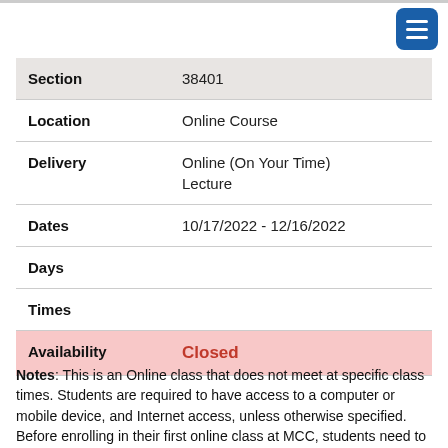| Field | Value |
| --- | --- |
| Section | 38401 |
| Location | Online Course |
| Delivery | Online (On Your Time)
Lecture |
| Dates | 10/17/2022 - 12/16/2022 |
| Days |  |
| Times |  |
| Availability | Closed |
Notes: This is an Online class that does not meet at specific class times. Students are required to have access to a computer or mobile device, and Internet access, unless otherwise specified. Before enrolling in their first online class at MCC, students need to view the online orientation and complete the readiness survey on https://www.mesacc.edu/online/get-started for additional